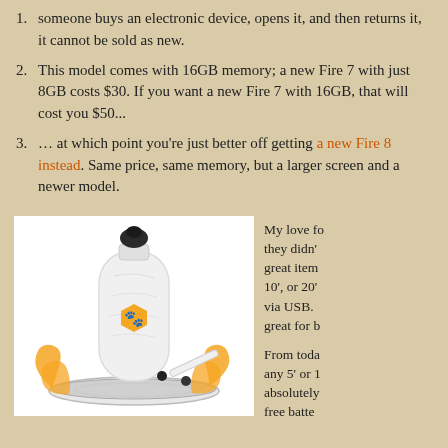someone buys an electronic device, opens it, and then returns it, it cannot be sold as new.
This model comes with 16GB memory; a new Fire 7 with just 8GB costs $30. If you want a new Fire 7 with 16GB, that will cost you $50...
... at which point you're just better off getting a new Fire 8 instead. Same price, same memory, but a larger screen and a newer model.
[Figure (photo): Product photo of a camping/outdoor lantern kit with a white fabric bag with orange logo, a round base, orange rope loops, and accessories, on white background.]
My love fo they didn't great item 10', or 20' via USB. great for b
From toda any 5' or 1 absolutely free batte